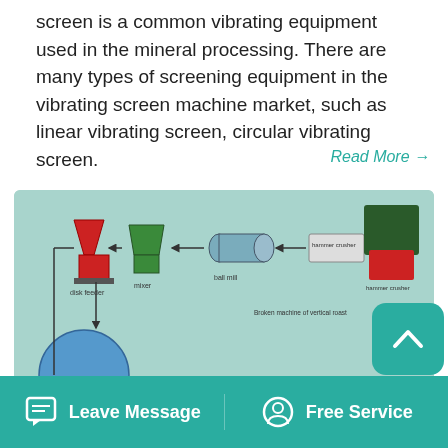screen is a common vibrating equipment used in the mineral processing. There are many types of screening equipment in the vibrating screen machine market, such as linear vibrating screen, circular vibrating screen.
Read More →
[Figure (flowchart): Engineering flowchart diagram showing mineral processing equipment: disk feeder, mixer, ball mill, hammer crusher, broken machine of vertical roast, cooling machine, ball mold machine, transfers barrel dryer, bucket elevator, and other equipment connected with arrows showing process flow.]
Leave Message   Free Service